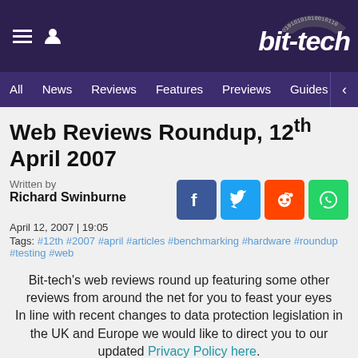bit-tech
All | News | Reviews | Features | Previews | Guides | B
Web Reviews Roundup, 12th April 2007
Written by
Richard Swinburne
April 12, 2007 | 19:05
Tags: #12th #2007 #april #articles #benchmarking #hardware #roundup #testing #web
Bit-tech's web reviews round up featuring some other reviews from around the net for you to feast your eyes
In line with recent changes to data protection legislation in the UK and Europe we would like to direct you to our updated Privacy Policy here.